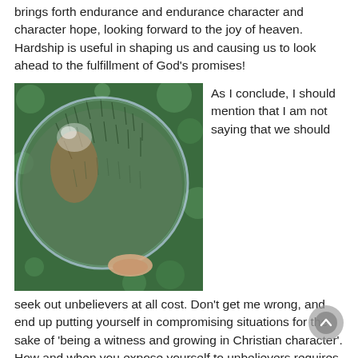brings forth endurance and endurance character and character hope, looking forward to the joy of heaven. Hardship is useful in shaping us and causing us to look ahead to the fulfillment of God's promises!
[Figure (photo): A hand holding a large soap bubble or glass ball, with a green bokeh background visible through and around the sphere.]
As I conclude, I should mention that I am not saying that we should seek out unbelievers at all cost. Don't get me wrong, and end up putting yourself in compromising situations for the sake of 'being a witness and growing in Christian character'. How and when you expose yourself to unbelievers requires wisdom. It's obvious that we should not